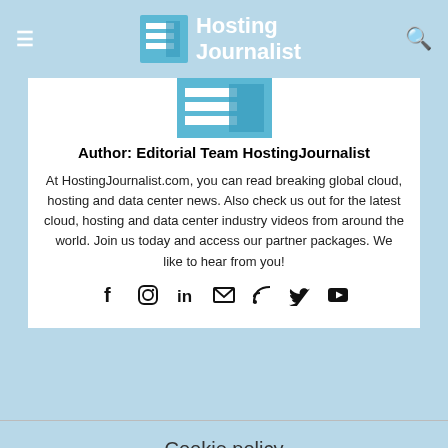Hosting Journalist
[Figure (logo): Hosting Journalist logo - blue icon with horizontal lines and text 'Hosting Journalist']
Author: Editorial Team HostingJournalist
At HostingJournalist.com, you can read breaking global cloud, hosting and data center news. Also check us out for the latest cloud, hosting and data center industry videos from around the world. Join us today and access our partner packages. We like to hear from you!
[Figure (infographic): Social media icons: Facebook, Instagram, LinkedIn, Email, RSS, Twitter, YouTube]
Cookie policy
HostingJournalist uses cookies to improve your experience. If you access our news portal we assume you're ok with this.
close   read more